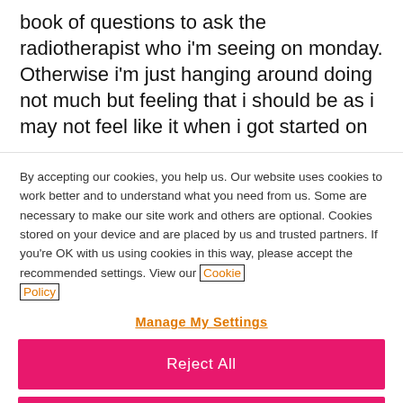book of questions to ask the radiotherapist who i'm seeing on monday. Otherwise i'm just hanging around doing not much but feeling that i should be as i may not feel like it when i got started on
By accepting our cookies, you help us. Our website uses cookies to work better and to understand what you need from us. Some are necessary to make our site work and others are optional. Cookies stored on your device and are placed by us and trusted partners. If you're OK with us using cookies in this way, please accept the recommended settings. View our Cookie Policy
Manage My Settings
Reject All
Accept All Cookies